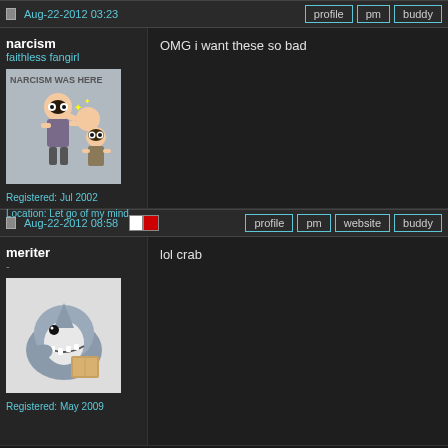Aug-22-2012 03:23
profile | pm | buddy
narcism
faithless fangirl
[Figure (illustration): Anime cartoon avatar showing two characters, one punching another, with 'NARCISM WAS HERE' text at top, gray background]
Registered: Jul 2002
Location: Let go of my mind
OMG i want these so bad
Aug-22-2012 08:58
profile | pm | website | buddy
meriter
-
[Figure (illustration): Anime cartoon of a shark character holding what appears to be a book or wallet, white background]
Registered: May 2009
lol crab